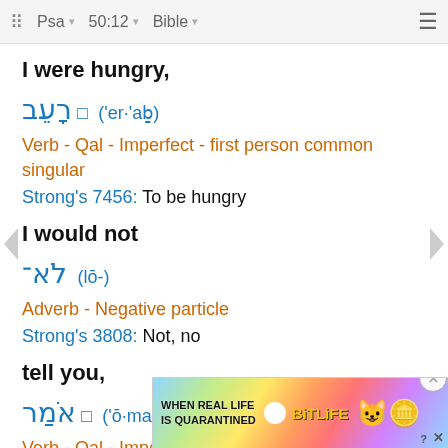Psa  50:12  Bible
I were hungry,
רָעֵב ('er·'aḇ)
Verb - Qal - Imperfect - first person common singular
Strong's 7456: To be hungry
I would not
לֹא־ (lō-)
Adverb - Negative particle
Strong's 3808: Not, no
tell you,
אֹמַר ('ō·mar)
Verb - Qal - Imperfect - first person common
singular
Stron